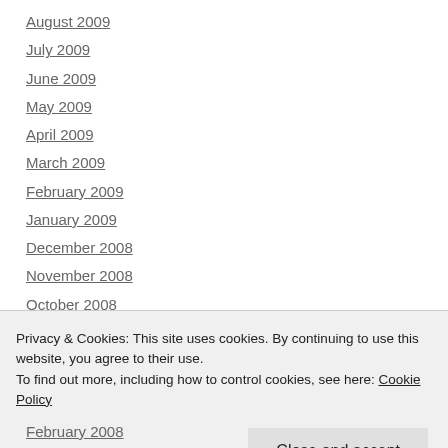August 2009
July 2009
June 2009
May 2009
April 2009
March 2009
February 2009
January 2009
December 2008
November 2008
October 2008
September 2008
August 2008
Privacy & Cookies: This site uses cookies. By continuing to use this website, you agree to their use.
To find out more, including how to control cookies, see here: Cookie Policy
February 2008